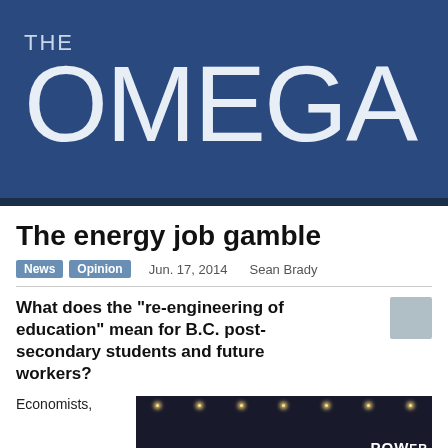THE OMEGA
The energy job gamble
News  Opinion    Jun. 17, 2014    Sean Brady
What does the “re-engineering of education” mean for B.C. post-secondary students and future workers?
Economists,
[Figure (photo): Dark indoor arena or convention hall with overhead lights visible and a banner reading POWER STRONG partially visible]